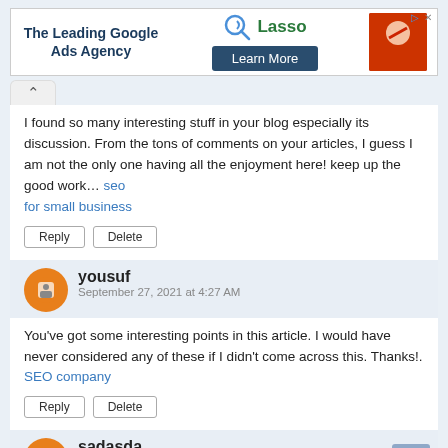[Figure (screenshot): Advertisement banner for Lasso Google Ads Agency with Learn More button]
I found so many interesting stuff in your blog especially its discussion. From the tons of comments on your articles, I guess I am not the only one having all the enjoyment here! keep up the good work… seo for small business
yousuf
September 27, 2021 at 4:27 AM
You've got some interesting points in this article. I would have never considered any of these if I didn't come across this. Thanks!. SEO company
sadasda
September 28, 2021 at 10:56 AM